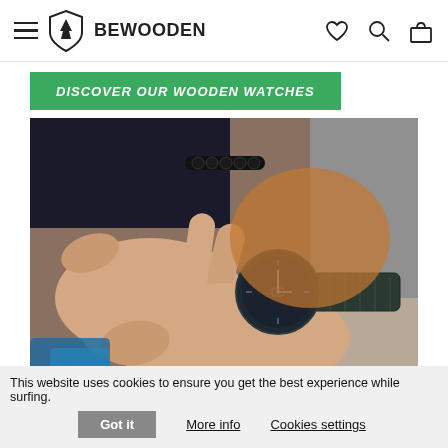BEWOODEN — navigation bar with hamburger menu, logo, brand name, heart icon, search icon, bag icon
DISCOVER OUR WOODEN WATCHES
[Figure (photo): Close-up photo of a person's hands fastening or adjusting a dark minimalist wooden/metal wristwatch with a mesh strap. The person is wearing a black bracelet and dark sleeve. Warm orange tones in background.]
This website uses cookies to ensure you get the best experience while surfing.
Got it
More info
Cookies settings